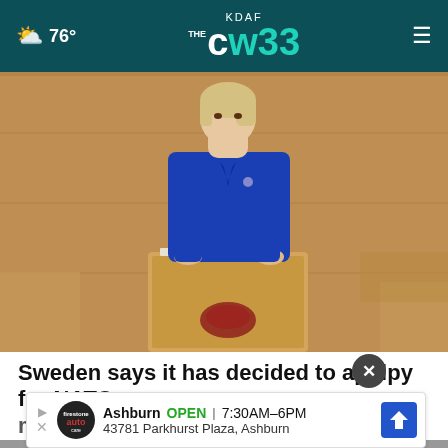KDAF THE CW 33 | ☁ 76°
[Figure (photo): Woman in blue blazer standing at a wooden podium/lectern speaking, with a wooden panel background. A Swedish royal crown emblem is visible on the podium.]
Sweden says it has decided to applpy for NATO membership
[Figure (infographic): Advertisement banner for Firestone Auto Care in Ashburn: OPEN 7:30AM–6PM, 43781 Parkhurst Plaza, Ashburn]